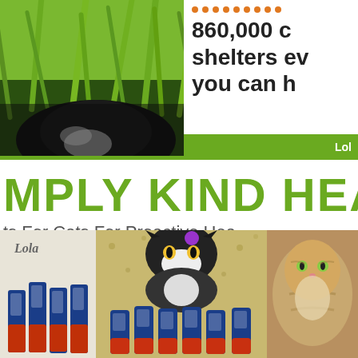[Figure (photo): Black and white cat hiding in tall green grass, top-left of page]
860,000 c shelters ev you can h
Lol
MPLY KIND HEART
ts For Cats For Proactive Hea
Cat a Treat That's as Kind a
[Figure (photo): Lola branded cat treat tubes product photo on textured background]
[Figure (photo): Black and white cat looking down at treat tubes arranged on patterned surface]
[Figure (photo): Orange/tabby cat partially visible, right edge]